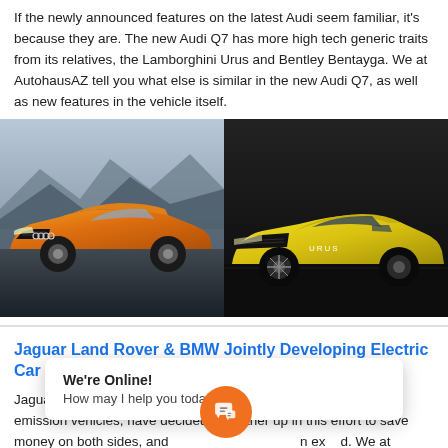If the newly announced features on the latest Audi seem familiar, it's because they are. The new Audi Q7 has more high tech generic traits from its relatives, the Lamborghini Urus and Bentley Bentayga. We at AutohausAZ tell you what else is similar in the new Audi Q7, as well as new features in the vehicle itself.
[Figure (photo): Side-by-side photo of an orange Audi SUV (left) and a yellow Lamborghini Urus (right) on dark backgrounds.]
Jaguar Land Rover & BMW Jointly Developing Electric Car Parts
Jaguar Land Rover & BMW, both facing pressure to launch zero-emission vehicles, have decided to partner up in this effort to save money on both sides, and... ...n ex...d. We at AutohausAZ have a... is... work.
We're Online!
How may I help you today?